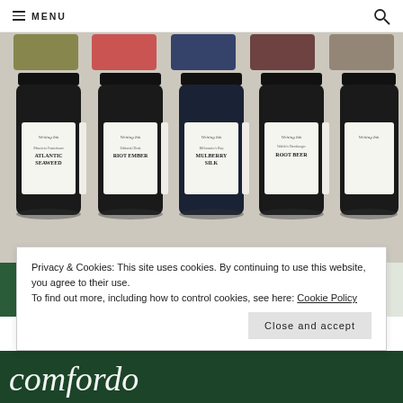≡ MENU 🔍
[Figure (photo): Five ink bottles from Ferromagnetic Pen Co., Pittsburgh, Texas, each with a white label reading 'Writing Ink'. The bottles contain (left to right): Atlantic Seaweed (olive green), Riot Ember (red), Mulberry Silk (navy blue), Waldo's Hamburger Root Beer (burgundy), and a fifth color (taupe/grey). Above each bottle is a brushstroke swatch of the corresponding ink color.]
[Figure (photo): Dark green banner/header section, partially visible, with a white diagonal stripe or card element on the right side.]
Privacy & Cookies: This site uses cookies. By continuing to use this website, you agree to their use.
To find out more, including how to control cookies, see here: Cookie Policy
Close and accept
[Figure (logo): Dark green strip at the bottom with partial white logo text/lettering visible, appears to be cursive/script font.]